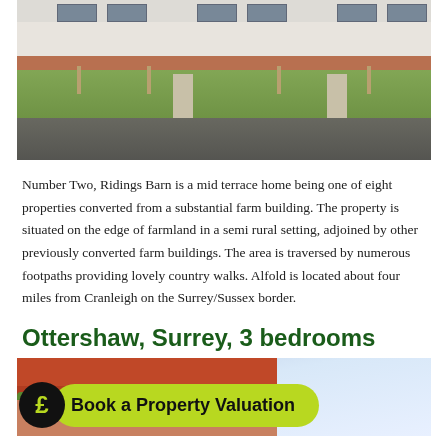[Figure (photo): Exterior photo of terrace homes at Ridings Barn — white/grey rendered facades with red brick base, green lawn in front, private road/driveway]
Number Two, Ridings Barn is a mid terrace home being one of eight properties converted from a substantial farm building. The property is situated on the edge of farmland in a semi rural setting, adjoined by other previously converted farm buildings. The area is traversed by numerous footpaths providing lovely country walks. Alfold is located about four miles from Cranleigh on the Surrey/Sussex border.
Ottershaw, Surrey, 3 bedrooms
[Figure (photo): Exterior photo of property in Ottershaw Surrey, partially obscured by 'Book a Property Valuation' promotional badge with pound sign icon]